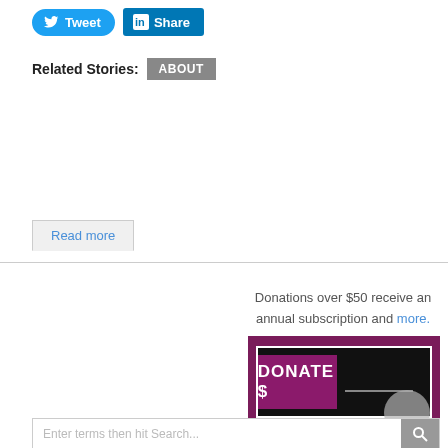[Figure (screenshot): Tweet button (blue rounded) and LinkedIn Share button (blue) side by side]
Related Stories: ABOUT
Read more
Donations over $50 receive an annual subscription and more.
[Figure (screenshot): Donate $ form widget — dark background with purple accent, white border, DONATE $ label with input underline]
Enter terms then hit Search...